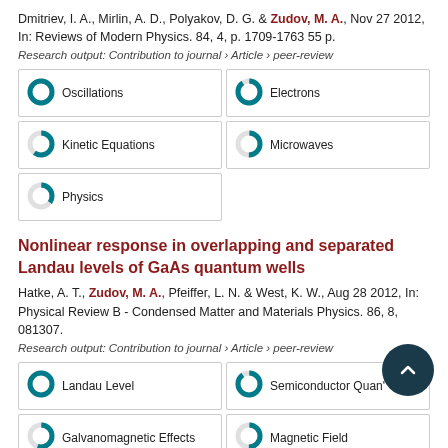Dmitriev, I. A., Mirlin, A. D., Polyakov, D. G. & Zudov, M. A., Nov 27 2012, In: Reviews of Modern Physics. 84, 4, p. 1709-1763 55 p.
Research output: Contribution to journal › Article › peer-review
[Figure (infographic): Keyword badges with donut chart icons: Oscillations (100%), Electrons (90%), Kinetic Equations (60%), Microwaves (50%), Physics (35%)]
Nonlinear response in overlapping and separated Landau levels of GaAs quantum wells
Hatke, A. T., Zudov, M. A., Pfeiffer, L. N. & West, K. W., Aug 28 2012, In: Physical Review B - Condensed Matter and Materials Physics. 86, 8, 081307.
Research output: Contribution to journal › Article › peer-review
[Figure (infographic): Keyword badges with donut chart icons: Landau Level (100%), Semiconductor Quantum (90%), Galvanomagnetic Effects (55%), Magnetic Field (50%), Magnetic Fields (partial, cut off)]